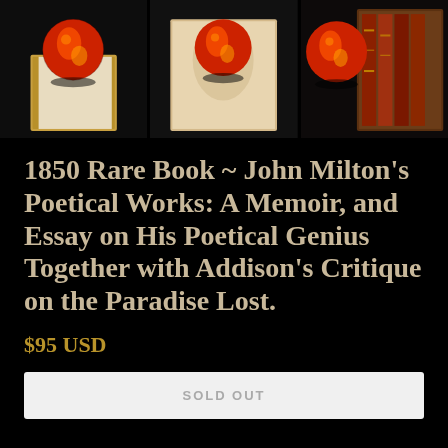[Figure (photo): Three side-by-side product photos of a rare book with a decorative red glass globe paperweight. Left photo shows the book and globe on a dark background. Middle photo shows a similar angle. Right photo shows the book spine (leather-bound with gold lettering) and globe.]
1850 Rare Book ~ John Milton's Poetical Works: A Memoir, and Essay on His Poetical Genius Together with Addison's Critique on the Paradise Lost.
$95 USD
SOLD OUT